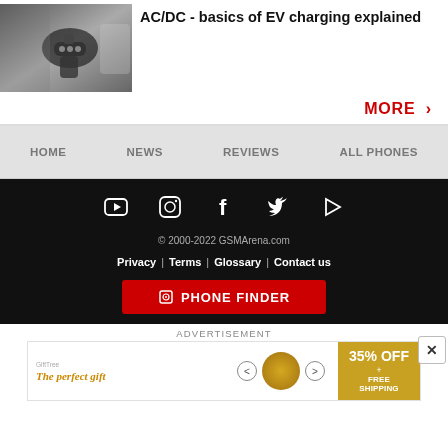[Figure (photo): Photo of a person holding an EV charging plug connector]
AC/DC - basics of EV charging explained
MORE ›
HOME  NEWS  REVIEWS  ALL PHONES
[Figure (infographic): Social media icons: YouTube, Instagram, Facebook, Twitter, RSS/Play]
© 2000-2022 GSMArena.com
Privacy | Terms | Glossary | Contact us
PHONE FINDER
ADVERTISEMENT
[Figure (infographic): Advertisement banner: The perfect gift, 35% OFF + FREE SHIPPING]